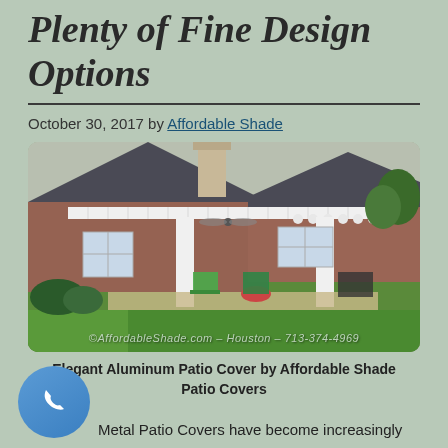Plenty of Fine Design Options
October 30, 2017 by Affordable Shade
[Figure (photo): Elegant aluminum patio cover attached to a brick house, with white columns, ceiling fan, and outdoor furniture on a patio, surrounded by green lawn. Watermark: ©AffordableShade.com – Houston – 713-574-4969]
Elegant Aluminum Patio Cover by Affordable Shade Patio Covers
Metal Patio Covers have become increasingly